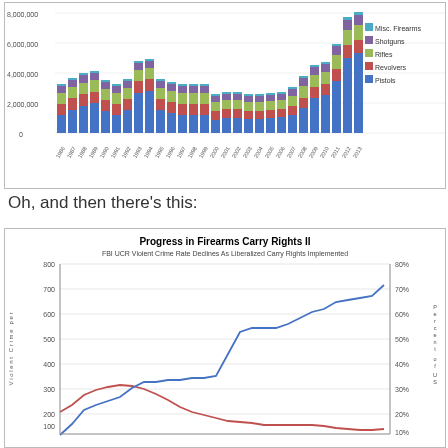[Figure (stacked-bar-chart): Firearms manufactured by type, 1986-2013]
Oh, and then there's this:
[Figure (line-chart): FBI UCR Violent Crime Rate Declines As Liberalized Carry Rights Implemented. Two lines: red line shows violent crime rate per 100,000 declining from ~620 in 1986 to ~760 peak around 1991-1993, then declining to ~400 by 2013. Blue line shows percent of US population with carry rights rising from ~0% in 1986 to ~70% by 2013.]